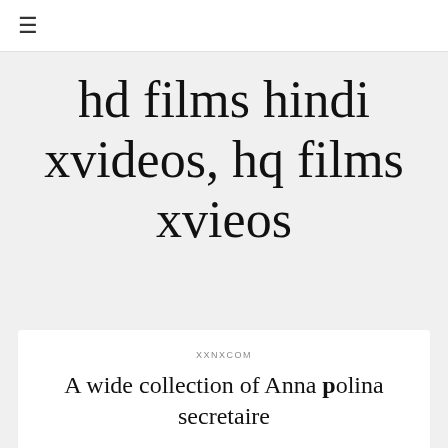≡
hd films hindi xvideos, hq films xvieos
XXNXCOM
A wide collection of Anna polina secretaire